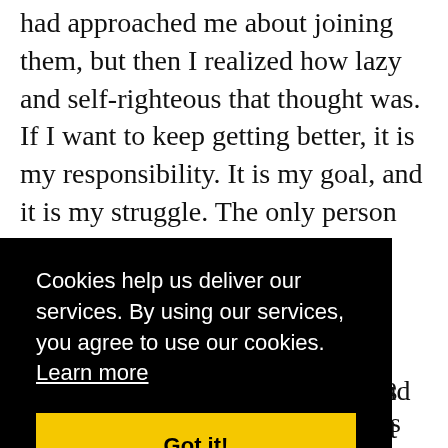had approached me about joining them, but then I realized how lazy and self-righteous that thought was. If I want to keep getting better, it is my responsibility. It is my goal, and it is my struggle. The only person who gets in the way is me.
Taking that leap and joining has been one of the most exciting successes I've had so far. It seems so insignificant, like jumping that bending line, but it's [obscured by cookie banner] and [obscured] s
[Figure (screenshot): Cookie consent banner overlay with black background. Text reads: 'Cookies help us deliver our services. By using our services, you agree to use our cookies. Learn more' with a yellow 'Got it!' button below.]
So I'm challenging you all to take whatever it is you're